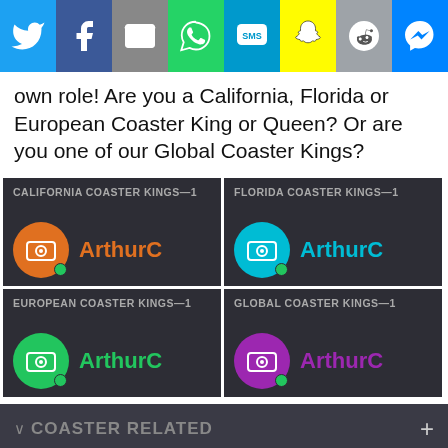[Figure (infographic): Social sharing icons bar: Twitter (blue), Facebook (dark blue), Email (gray), WhatsApp (green), SMS (blue), Snapchat (yellow), Reddit (gray), Messenger (blue)]
own role! Are you a California, Florida or European Coaster King or Queen? Or are you one of our Global Coaster Kings?
[Figure (infographic): California Coaster Kings—1 leaderboard card showing user ArthurC with orange avatar]
[Figure (infographic): Florida Coaster Kings—1 leaderboard card showing user ArthurC with teal avatar]
[Figure (infographic): European Coaster Kings—1 leaderboard card showing user ArthurC with green avatar]
[Figure (infographic): Global Coaster Kings—1 leaderboard card showing user ArthurC with purple avatar]
COASTER RELATED
This website uses cookies
OKAY
MORE INFO